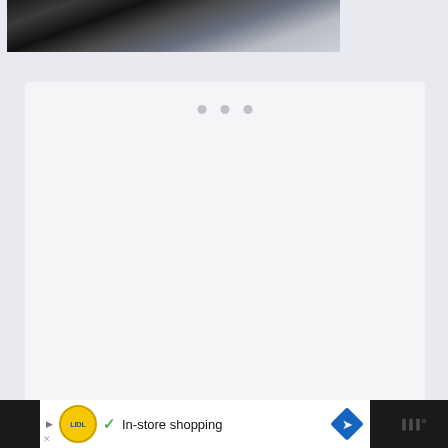[Figure (photo): Partial top view of a dark blender or appliance with chrome/silver base against a light background]
[Figure (screenshot): White/light gray card panel with three pagination dots visible near the top center, mostly empty content area (loading state)]
[Figure (screenshot): Advertisement bar: Lidl logo, checkmark, text 'In-store shopping', blue navigation diamond icon, and Waze-like icon on dark background]